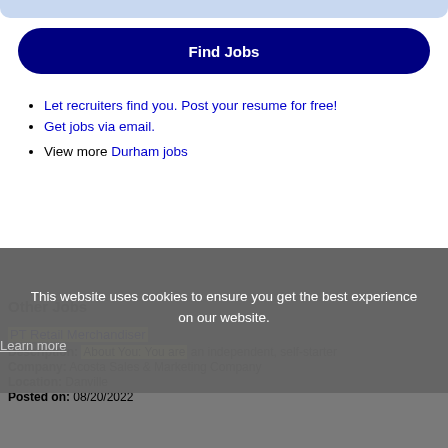[Figure (other): Light blue rounded bar at top of page (partial UI element)]
Find Jobs
Let recruiters find you. Post your resume for free!
Get jobs via email.
View more Durham jobs
This website uses cookies to ensure you get the best experience on our website.
Learn more
Other Jobs
PT Retail Merchandiser
Description: About You: You are an independent, self-starter
Company: Acosta Sales & Marketing Company
Location: Danville
Posted on: 08/20/2022